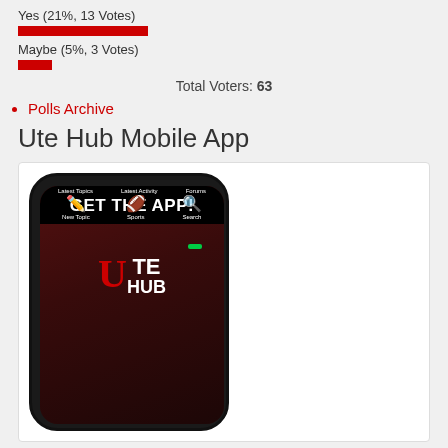Yes (21%, 13 Votes)
Maybe (5%, 3 Votes)
Total Voters: 63
Polls Archive
Ute Hub Mobile App
[Figure (screenshot): Ute Hub mobile app screenshot showing a phone with 'GET THE APP!' banner, Ute Hub logo, and navigation icons for Latest Topics, Latest Activity, Forums, New Topic, Sports, and Search.]